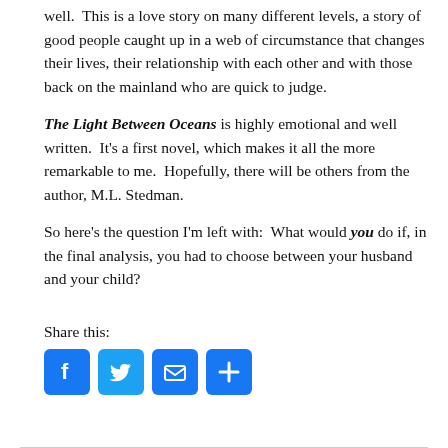well.  This is a love story on many different levels, a story of good people caught up in a web of circumstance that changes their lives, their relationship with each other and with those back on the mainland who are quick to judge.
The Light Between Oceans is highly emotional and well written.  It's a first novel, which makes it all the more remarkable to me.  Hopefully, there will be others from the author, M.L. Stedman.
So here's the question I'm left with:  What would you do if, in the final analysis, you had to choose between your husband and your child?
Share this:
[Figure (infographic): Four social sharing buttons: Facebook (blue, F icon), Twitter (blue, bird icon), Email (blue, envelope icon), More/Share (blue, plus icon)]